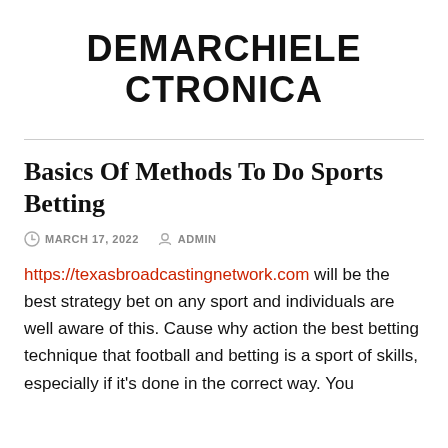DEMARCHIELE CTRONICA
Basics Of Methods To Do Sports Betting
MARCH 17, 2022   ADMIN
https://texasbroadcastingnetwork.com will be the best strategy bet on any sport and individuals are well aware of this. Cause why action the best betting technique that football and betting is a sport of skills, especially if it’s done in the correct way. You